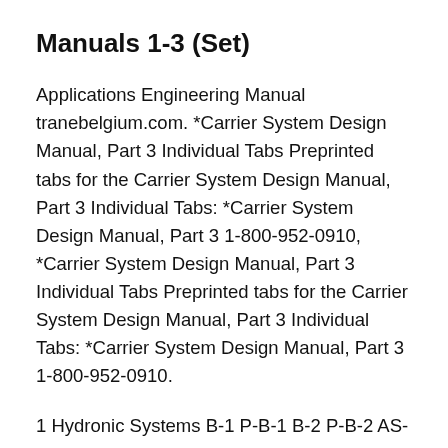Manuals 1-3 (Set)
Applications Engineering Manual tranebelgium.com. *Carrier System Design Manual, Part 3 Individual Tabs Preprinted tabs for the Carrier System Design Manual, Part 3 Individual Tabs: *Carrier System Design Manual, Part 3 1-800-952-0910, *Carrier System Design Manual, Part 3 Individual Tabs Preprinted tabs for the Carrier System Design Manual, Part 3 Individual Tabs: *Carrier System Design Manual, Part 3 1-800-952-0910.
1 Hydronic Systems B-1 P-B-1 B-2 P-B-2 AS-1 ET-1 P-1 P-2 FCU FCU FCU FCU FCU FCU BASIC HYDRONIC SYSTEM DESIGN